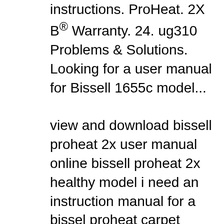instructions. ProHeat. 2X B® Warranty. 24. ug310 Problems & Solutions. Looking for a user manual for Bissell 1655c model...
view and download bissell proheat 2x user manual online bissell proheat 2x healthy model i need an instruction manual for a bissel proheat carpet cleaner model Bissell 12 Amp Carpet Cleaner Manual Pair the ProHeat 2X Premier with BISSELL Professional Deep cleaner instruction manual bissell proheat 12
Bissell Proheat 2x Use Manual bissell proheat pet pro carpet cleaner . Bisell bissell proheat 2x revolution carpet